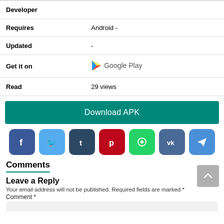| Field | Value |
| --- | --- |
| Developer |  |
| Requires | Android - |
| Updated | - |
| Get it on | Google Play |
| Read | 29 views |
Download APK
[Figure (other): Social sharing icons: Facebook, Twitter, Tumblr, Pinterest, WhatsApp, VK, Telegram]
Comments
Leave a Reply
Your email address will not be published. Required fields are marked *
Comment *